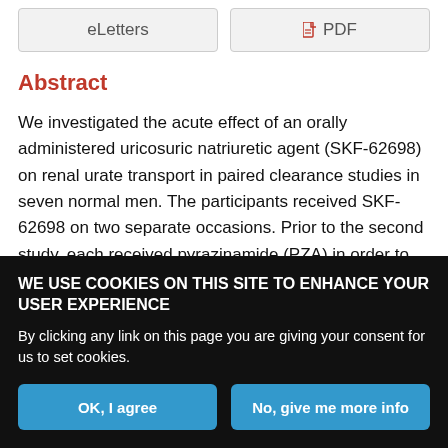eLetters
PDF
Abstract
We investigated the acute effect of an orally administered uricosuric natriuretic agent (SKF-62698) on renal urate transport in paired clearance studies in seven normal men. The participants received SKF-62698 on two separate occasions. Prior to the second study, each received pyrazinamide (PZA) in order to inhibit the tubular secretion of urate. Within 3 hours, SKF-62698 significantly
WE USE COOKIES ON THIS SITE TO ENHANCE YOUR USER EXPERIENCE
By clicking any link on this page you are giving your consent for us to set cookies.
OK, I agree
No, give me more info